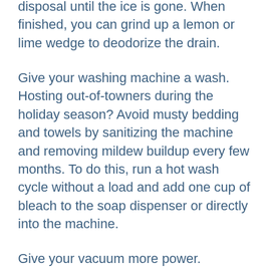disposal until the ice is gone. When finished, you can grind up a lemon or lime wedge to deodorize the drain.
Give your washing machine a wash. Hosting out-of-towners during the holiday season? Avoid musty bedding and towels by sanitizing the machine and removing mildew buildup every few months. To do this, run a hot wash cycle without a load and add one cup of bleach to the soap dispenser or directly into the machine.
Give your vacuum more power. Increased foot traffic could have this tool working harder over the holidays. Keep your vacuum